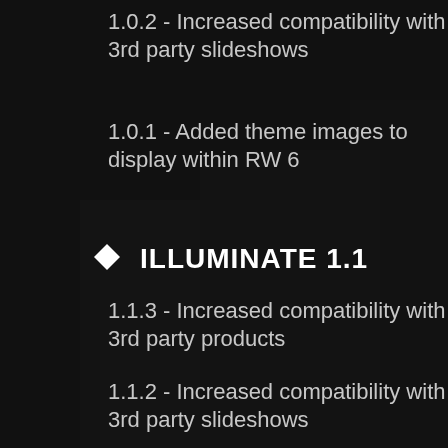1.0.2 - Increased compatibility with 3rd party slideshows
1.0.1 - Added theme images to display within RW 6
ILLUMINATE 1.1
1.1.3 - Increased compatibility with 3rd party products
1.1.2 - Increased compatibility with 3rd party slideshows
1.1.1 - Added theme images to display within RW 6
1.1.0 - Added background